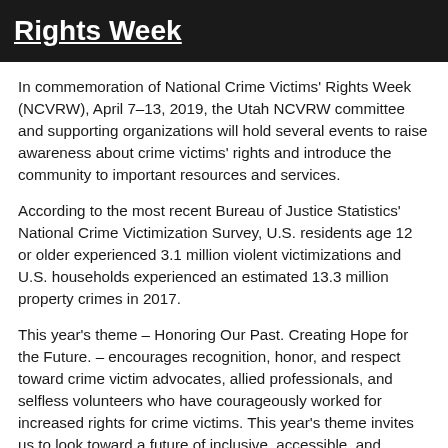[Figure (photo): Dark banner image with white underlined bold text reading 'Rights Week']
In commemoration of National Crime Victims' Rights Week (NCVRW), April 7–13, 2019, the Utah NCVRW committee and supporting organizations will hold several events to raise awareness about crime victims' rights and introduce the community to important resources and services.
According to the most recent Bureau of Justice Statistics' National Crime Victimization Survey, U.S. residents age 12 or older experienced 3.1 million violent victimizations and U.S. households experienced an estimated 13.3 million property crimes in 2017.
This year's theme – Honoring Our Past. Creating Hope for the Future. – encourages recognition, honor, and respect toward crime victim advocates, allied professionals, and selfless volunteers who have courageously worked for increased rights for crime victims. This year's theme invites us to look toward a future of inclusive, accessible, and innovative resources and services for survivors.